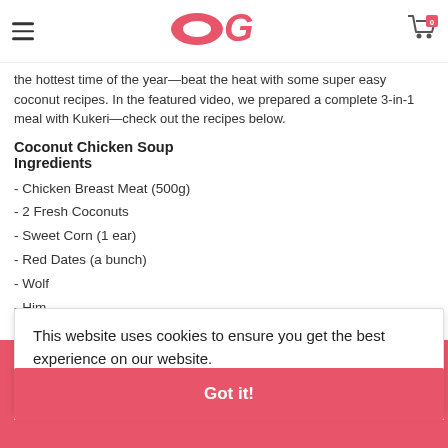OG (logo), hamburger menu, cart icon
the hottest time of the year—beat the heat with some super easy coconut recipes. In the featured video, we prepared a complete 3-in-1 meal with Kukeri—check out the recipes below.
Coconut Chicken Soup
Ingredients
- Chicken Breast Meat (500g)
- 2 Fresh Coconuts
- Sweet Corn (1 ear)
- Red Dates (a bunch)
- Wolf...
- Him...
1. Pre...
2. Ext...
pot
This website uses cookies to ensure you get the best experience on our website.
Learn more
Got it!